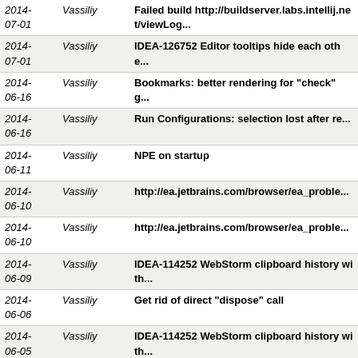| Date | Author | Description |
| --- | --- | --- |
| 2014-07-01 | Vassiliy | Failed build http://buildserver.labs.intellij.net/viewLog... |
| 2014-07-01 | Vassiliy | IDEA-126752 Editor tooltips hide each othe... |
| 2014-06-16 | Vassiliy | Bookmarks: better rendering for "check" g... |
| 2014-06-16 | Vassiliy | Run Configurations: selection lost after re... |
| 2014-06-11 | Vassiliy | NPE on startup |
| 2014-06-10 | Vassiliy | http://ea.jetbrains.com/browser/ea_proble... |
| 2014-06-10 | Vassiliy | http://ea.jetbrains.com/browser/ea_proble... |
| 2014-06-09 | Vassiliy | IDEA-114252 WebStorm clipboard history with... |
| 2014-06-06 | Vassiliy | Get rid of direct "dispose" call |
| 2014-06-05 | Vassiliy | IDEA-114252 WebStorm clipboard history with... |
| 2014-06-05 | Vassiliy | IDEA-104484 Console ExceptionFilters are twice... |
| 2014-06-04 | Vassiliy | Get rid of needless filtering |
| 2014-06-04 | Vassiliy | IDEA-99541 New run configuration type to... |
| 2014-... | Vassiliy | IDEA-122797 "No live templates selected"... |